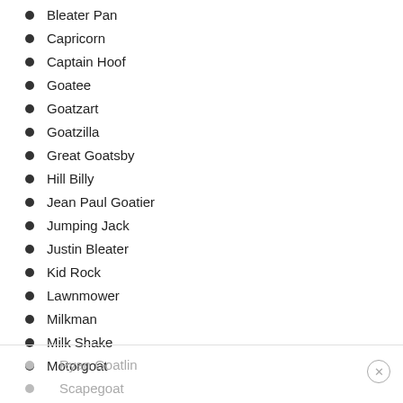Bleater Pan
Capricorn
Captain Hoof
Goatee
Goatzart
Goatzilla
Great Goatsby
Hill Billy
Jean Paul Goatier
Jumping Jack
Justin Bleater
Kid Rock
Lawnmower
Milkman
Milk Shake
Motorgoat
Ryan Goatlin
Scapegoat